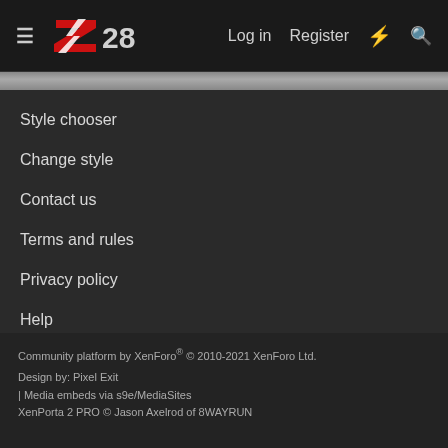Z28 — Log in | Register
Style chooser
Change style
Contact us
Terms and rules
Privacy policy
Help
[Figure (illustration): RSS feed icon]
Community platform by XenForo® © 2010-2021 XenForo Ltd.
Design by: Pixel Exit
| Media embeds via s9e/MediaSites
XenPorta 2 PRO © Jason Axelrod of 8WAYRUN